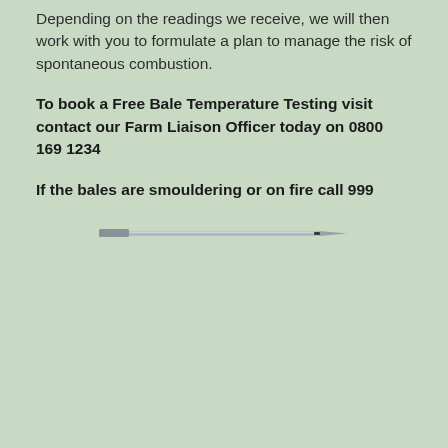Depending on the readings we receive, we will then work with you to formulate a plan to manage the risk of spontaneous combustion.
To book a Free Bale Temperature Testing visit contact our Farm Liaison Officer today on 0800 169 1234
If the bales are smouldering or on fire call 999
[Figure (photo): A temperature probe or thermometer instrument shown horizontally, slightly angled, with a metallic needle tip, against the green background.]